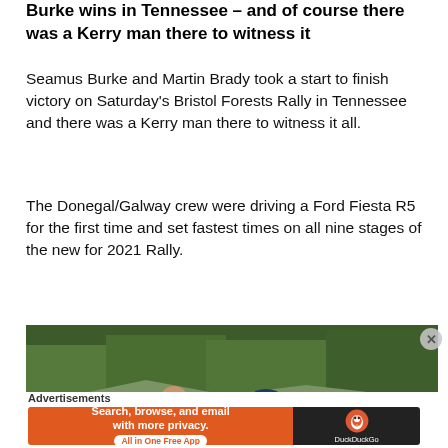Burke wins in Tennessee – and of course there was a Kerry man there to witness it
Seamus Burke and Martin Brady took a start to finish victory on Saturday's Bristol Forests Rally in Tennessee and there was a Kerry man there to witness it all.
The Donegal/Galway crew were driving a Ford Fiesta R5 for the first time and set fastest times on all nine stages of the new for 2021 Rally.
[Figure (photo): Two men standing outdoors at a rally event. Behind them are vehicles and a wooded hillside. One man on the left wears a black t-shirt, the other on the right wears a blue cap and blue shirt.]
Advertisements
[Figure (infographic): DuckDuckGo advertisement banner: orange left side reads 'Search, browse, and email with more privacy. All in One Free App'; dark right side shows DuckDuckGo logo and duck icon.]